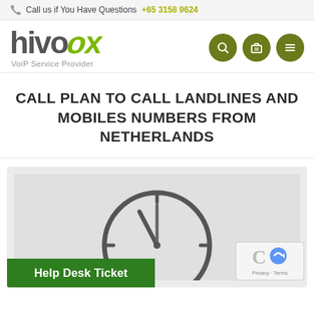Call us if You Have Questions +65 3158 9624
[Figure (logo): Hivoox VoIP Service Provider logo with green X accent]
CALL PLAN TO CALL LANDLINES AND MOBILES NUMBERS FROM NETHERLANDS
[Figure (illustration): Partial clock/timer illustration on grey background with Help Desk Ticket green button and reCAPTCHA badge]